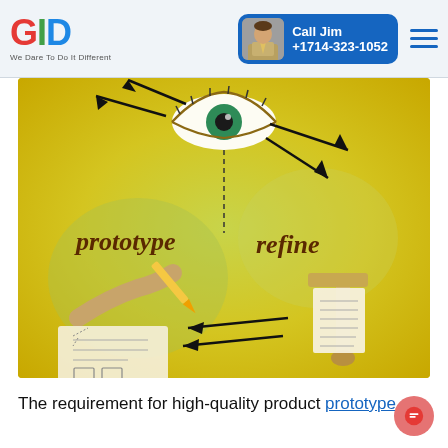GID — We Dare To Do It Different | Call Jim +1714-323-1052
[Figure (illustration): Illustration on a yellow-green background showing a design prototype-and-refine cycle. An eye at the top center with arrows pointing up-left and down-right. Text 'prototype' on the left with a hand drawing on paper. Text 'refine' on the right with a clamp tool. Arrows cycle between the two stages.]
The requirement for high-quality product prototype